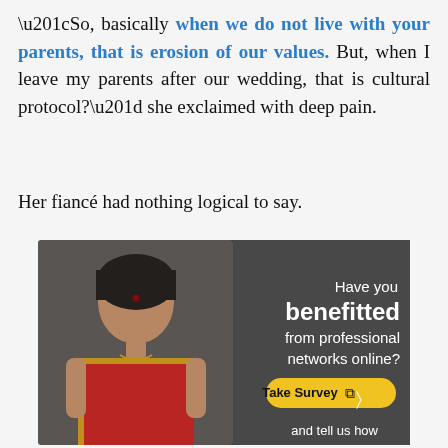“So, basically when we do not live with your parents, that is erosion of our values. But, when I leave my parents after our wedding, that is cultural protocol?” she exclaimed with deep pain.
Her fiancé had nothing logical to say.
[Figure (infographic): Advertisement banner showing an Indian woman in a red saree on the left side, and on the right side text reading 'Have you benefitted from professional networks online?' with a yellow 'Take Survey' button and text 'and tell us how']